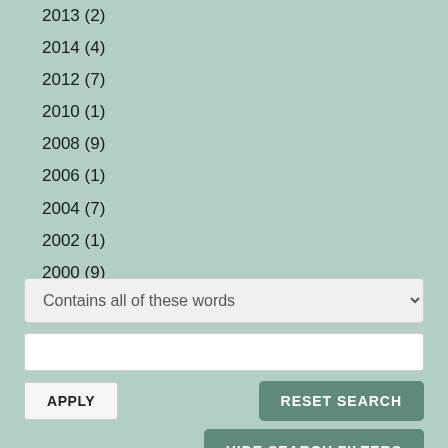2013 (2)
2014 (4)
2012 (7)
2010 (1)
2008 (9)
2006 (1)
2004 (7)
2002 (1)
2000 (9)
1996 (8)
Contains all of these words (dropdown)
APPLY | RESET SEARCH | HIDE SEARCH FILTERS